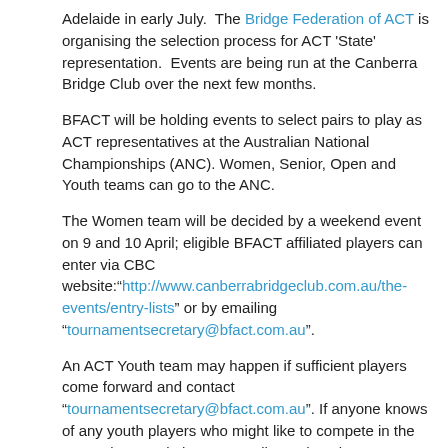Adelaide in early July.  The Bridge Federation of ACT is organising the selection process for ACT 'State' representation.  Events are being run at the Canberra Bridge Club over the next few months.
BFACT will be holding events to select pairs to play as ACT representatives at the Australian National Championships (ANC). Women, Senior, Open and Youth teams can go to the ANC.
The Women team will be decided by a weekend event on 9 and 10 April; eligible BFACT affiliated players can enter via CBC website:“http://www.canberrabridgeclub.com.au/the-events/entry-lists” or by emailing “tournamentsecretary@bfact.com.au”.
An ACT Youth team may happen if sufficient players come forward and contact “tournamentsecretary@bfact.com.au”. If anyone knows of any youth players who might like to compete in the ANC, please ask them to email, or otherwise contact Niek Van Vucht.
The Senior team will be decided by a weekend event on Fri., Sat., Sun. 20, 21, 22 May. Depending on number of entries received by 22 March, a qualifying event may be held to reduce the number of pairs that will compete on the weekend. Entries are required by 22nd March so that qualifying events can be